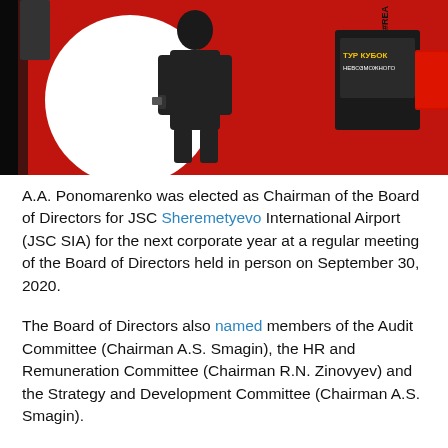[Figure (photo): A person in dark clothing standing at a red backdrop with a circular logo, holding a phone. There is a podium/display visible to the right with Cyrillic text.]
A.A. Ponomarenko was elected as Chairman of the Board of Directors for JSC Sheremetyevo International Airport (JSC SIA) for the next corporate year at a regular meeting of the Board of Directors held in person on September 30, 2020.
The Board of Directors also named members of the Audit Committee (Chairman A.S. Smagin), the HR and Remuneration Committee (Chairman R.N. Zinovyev) and the Strategy and Development Committee (Chairman A.S. Smagin).